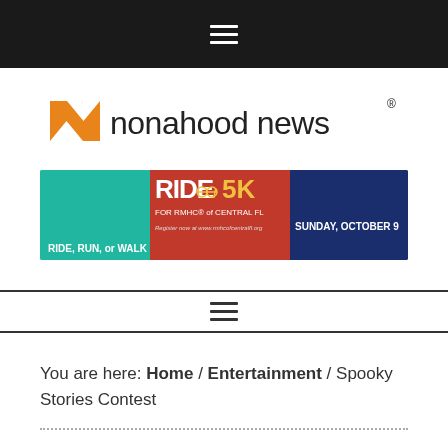≡ (navigation menu icon)
[Figure (logo): Nonahood News logo with orange N lettermark and text 'nonahood news']
[Figure (infographic): Ride/5K banner advertisement - Ride, Run, or Walk for RMHC of Central FL, Sunday, October 9, with cyclists/runners in teal and red/navy colors]
≡ (navigation menu icon)
You are here: Home / Entertainment / Spooky Stories Contest